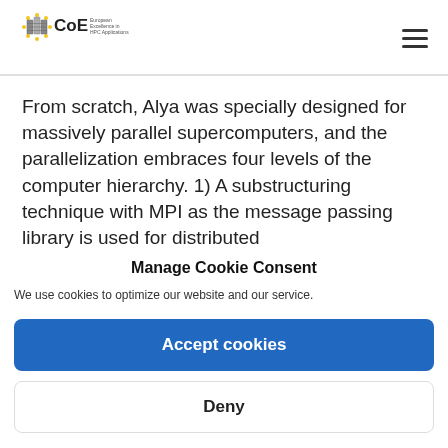CoE — European Excellence in HPC Applications
From scratch, Alya was specially designed for massively parallel supercomputers, and the parallelization embraces four levels of the computer hierarchy. 1) A substructuring technique with MPI as the message passing library is used for distributed
Manage Cookie Consent
We use cookies to optimize our website and our service.
Accept cookies
Deny